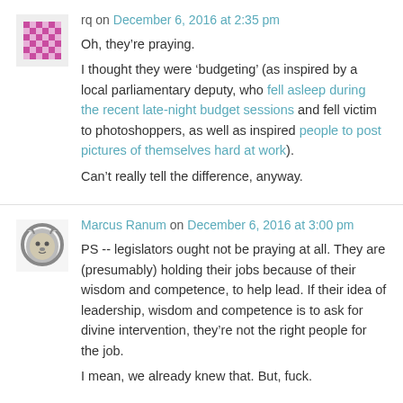rq on December 6, 2016 at 2:35 pm
Oh, they’re praying.
I thought they were ‘budgeting’ (as inspired by a local parliamentary deputy, who fell asleep during the recent late-night budget sessions and fell victim to photoshoppers, as well as inspired people to post pictures of themselves hard at work).
Can’t really tell the difference, anyway.
Marcus Ranum on December 6, 2016 at 3:00 pm
PS -- legislators ought not be praying at all. They are (presumably) holding their jobs because of their wisdom and competence, to help lead. If their idea of leadership, wisdom and competence is to ask for divine intervention, they’re not the right people for the job.

I mean, we already knew that. But, fuck.